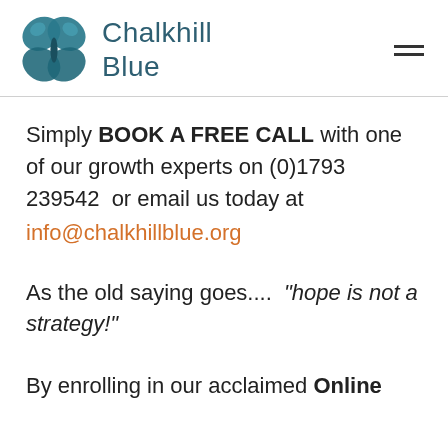Chalkhill Blue
Simply BOOK A FREE CALL with one of our growth experts on (0)1793 239542  or email us today at info@chalkhillblue.org
As the old saying goes....  “hope is not a strategy!”
By enrolling in our acclaimed Online